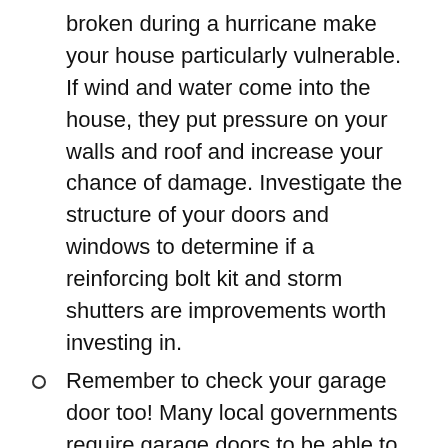broken during a hurricane make your house particularly vulnerable. If wind and water come into the house, they put pressure on your walls and roof and increase your chance of damage. Investigate the structure of your doors and windows to determine if a reinforcing bolt kit and storm shutters are improvements worth investing in.
Remember to check your garage door too! Many local governments require garage doors to be able to withstand high winds — learn about your local building codes and find out if your garage door comes equipped or if you need a retrofit kit to stabilize your door.